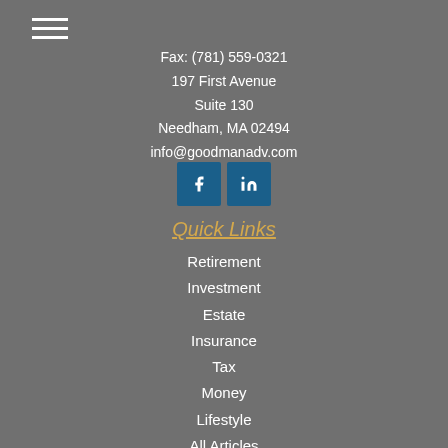☰ (hamburger menu icon)
Fax: (781) 559-0321
197 First Avenue
Suite 130
Needham, MA 02494
info@goodmanadv.com
[Figure (illustration): Two social media icon buttons: Facebook (f) and LinkedIn (in) in dark blue square buttons]
Quick Links
Retirement
Investment
Estate
Insurance
Tax
Money
Lifestyle
All Articles
All Videos
All Calculators